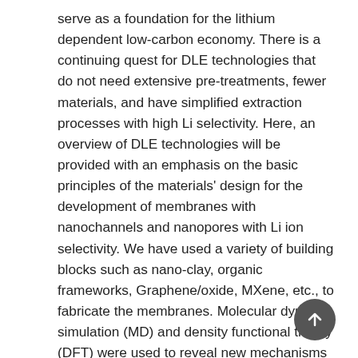serve as a foundation for the lithium dependent low-carbon economy. There is a continuing quest for DLE technologies that do not need extensive pre-treatments, fewer materials, and have simplified extraction processes with high Li selectivity. Here, an overview of DLE technologies will be provided with an emphasis on the basic principles of the materials' design for the development of membranes with nanochannels and nanopores with Li ion selectivity. We have used a variety of building blocks such as nano-clay, organic frameworks, Graphene/oxide, MXene, etc., to fabricate the membranes. Molecular dynamic simulation (MD) and density functional theory (DFT) were used to reveal new mechanisms by which high Li selectivity was obtained.
Keywords: lithium recovery, membrane, lithium selectivity, decarbonization